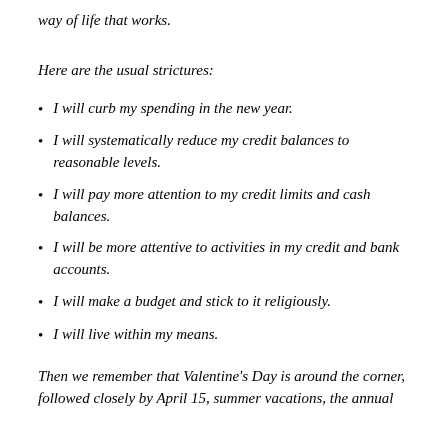way of life that works.
Here are the usual strictures:
I will curb my spending in the new year.
I will systematically reduce my credit balances to reasonable levels.
I will pay more attention to my credit limits and cash balances.
I will be more attentive to activities in my credit and bank accounts.
I will make a budget and stick to it religiously.
I will live within my means.
Then we remember that Valentine's Day is around the corner, followed closely by April 15, summer vacations, the annual myriad of birthdays, weddings, and, hey, if the name brand